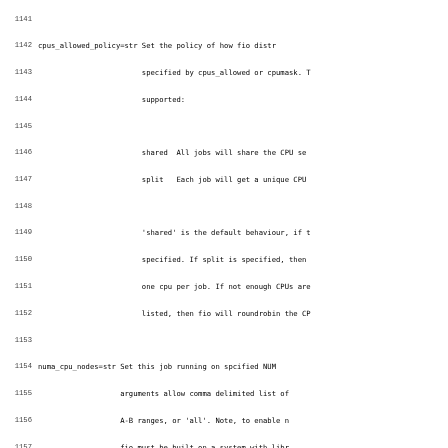Code documentation listing lines 1141-1172+ showing fio tool parameters: cpus_allowed_policy, numa_cpu_nodes, numa_mem_policy, startdelay
1141 (blank)
1142 cpus_allowed_policy=str Set the policy of how fio distr
1143                         specified by cpus_allowed or cpumask. T
1144                         supported:
1145 (blank)
1146                         shared  All jobs will share the CPU se
1147                         split   Each job will get a unique CPU
1148 (blank)
1149                         'shared' is the default behaviour, if t
1150                         specified. If split is specified, then
1151                         one cpu per job. If not enough CPUs are
1152                         listed, then fio will roundrobin the CP
1153 (blank)
1154 numa_cpu_nodes=str Set this job running on spcified NUM
1155                    arguments allow comma delimited list of
1156                    A-B ranges, or 'all'. Note, to enable n
1157                    fio must be built on a system with libr
1158 (blank)
1159 numa_mem_policy=str Set this job's memory policy and co
1160                    nodes. Format of the argements:
1161                             <mode>[:<nodelist>]
1162                    `mode' is one of the following memory p
1163                             default, prefer, bind, interlea
1164                    For `default' and `local' memory policy
1165                    needed to be specified.
1166                    For `prefer', only one node is allowed.
1167                    For `bind' and `interleave', it allow c
1168                    list of numbers, A-B ranges, or 'all'.
1169 (blank)
1170 startdelay=time Start this job the specified number of
1171                 has started. Only useful if the job fil
1172                 jobs, and you want to delay starting so